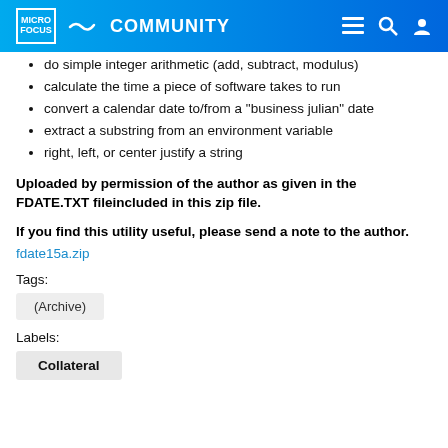MICRO FOCUS COMMUNITY
do simple integer arithmetic (add, subtract, modulus)
calculate the time a piece of software takes to run
convert a calendar date to/from a "business julian" date
extract a substring from an environment variable
right, left, or center justify a string
Uploaded by permission of the author as given in the FDATE.TXT fileincluded in this zip file.
If you find this utility useful, please send a note to the author.
fdate15a.zip
Tags:
(Archive)
Labels:
Collateral